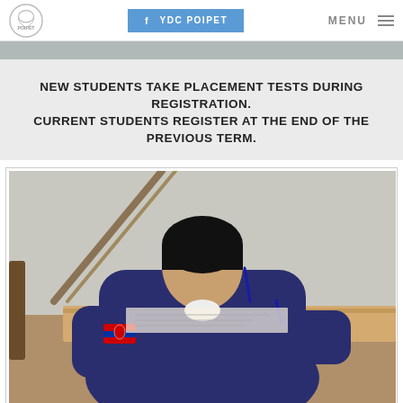POIPET | YDC POIPET | MENU
NEW STUDENTS TAKE PLACEMENT TESTS DURING REGISTRATION. CURRENT STUDENTS REGISTER AT THE END OF THE PREVIOUS TERM.
[Figure (photo): A student in a dark blue school uniform with a Cambodian flag patch on the sleeve, seen from behind, writing at a wooden desk during a placement test.]